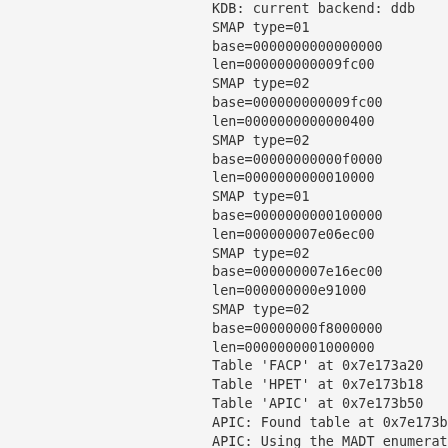KDB: current backend: ddb
SMAP type=01
base=0000000000000000
len=000000000009fc00
SMAP type=02
base=000000000009fc00
len=0000000000000400
SMAP type=02
base=00000000000f0000
len=0000000000010000
SMAP type=01
base=0000000000100000
len=000000007e06ec00
SMAP type=02
base=000000007e16ec00
len=000000000e91000
SMAP type=02
base=00000000f8000000
len=0000000001000000
Table 'FACP' at 0x7e173a20
Table 'HPET' at 0x7e173b18
Table 'APIC' at 0x7e173b50
APIC: Found table at 0x7e173b50
APIC: Using the MADT enumerator.
MADT: Found CPU APIC ID 0 ACPI
ID 0: enabled